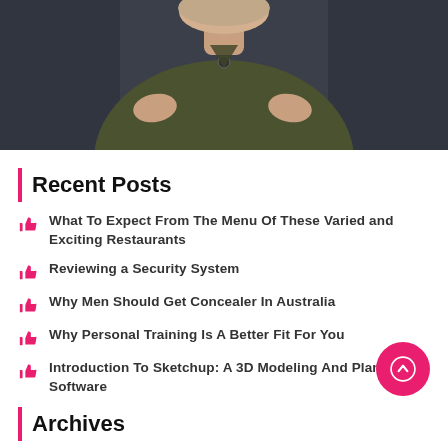[Figure (photo): Woman with arms crossed wearing a dark olive/green blouse, with a dark background. Photo is cropped to show from approximately mid-torso upward.]
Recent Posts
What To Expect From The Menu Of These Varied and Exciting Restaurants
Reviewing a Security System
Why Men Should Get Concealer In Australia
Why Personal Training Is A Better Fit For You
Introduction To Sketchup: A 3D Modeling And Planning Software
Archives